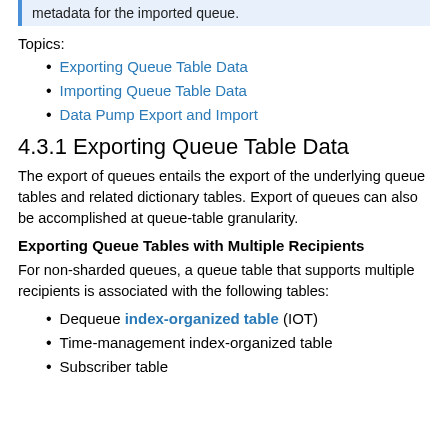metadata for the imported queue.
Topics:
Exporting Queue Table Data
Importing Queue Table Data
Data Pump Export and Import
4.3.1 Exporting Queue Table Data
The export of queues entails the export of the underlying queue tables and related dictionary tables. Export of queues can also be accomplished at queue-table granularity.
Exporting Queue Tables with Multiple Recipients
For non-sharded queues, a queue table that supports multiple recipients is associated with the following tables:
Dequeue index-organized table (IOT)
Time-management index-organized table
Subscriber table